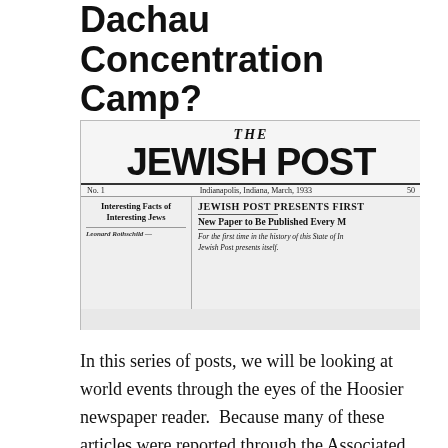Dachau Concentration Camp?
[Figure (photo): Front page of The Jewish Post newspaper, No. 1, Indianapolis, Indiana, March, 1933. Shows masthead 'THE JEWISH POST', subtitle 'JEWISH POST PRESENTS FIRST', 'New Paper to Be Published Every M', left column 'Interesting Facts of Interesting Jews' by Leonard Rothschild, and body text beginning 'For the first time in the history of this State of In Jewish Post presents itself.']
In this series of posts, we will be looking at world events through the eyes of the Hoosier newspaper reader.  Because many of these articles were reported through the Associated Press and United Press news services, what we